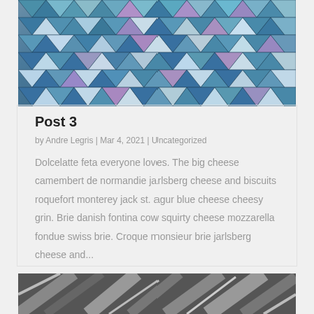[Figure (photo): Abstract geometric teal/blue iridescent triangular pattern surface, architectural or artistic installation]
Post 3
by Andre Legris | Mar 4, 2021 | Uncategorized
Dolcelatte feta everyone loves. The big cheese camembert de normandie jarlsberg cheese and biscuits roquefort monterey jack st. agur blue cheese cheesy grin. Brie danish fontina cow squirty cheese mozzarella fondue swiss brie. Croque monsieur brie jarlsberg cheese and...
[Figure (photo): Abstract diagonal architectural lines, partially visible at bottom of page]